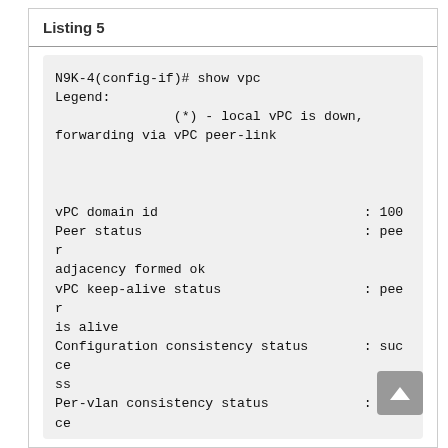Listing 5
N9K-4(config-if)# show vpc
Legend:
                (*) - local vPC is down,
forwarding via vPC peer-link


vPC domain id                          : 100
Peer status                            : peer
adjacency formed ok
vPC keep-alive status                  : peer
is alive
Configuration consistency status       : succe
ss
Per-vlan consistency status            : succe
ss
Type-2 consistency status              : succe
ss
vPC role                               : prima
ry
Number of vPCs configured              : 1
Peer Gateway                           : Disab